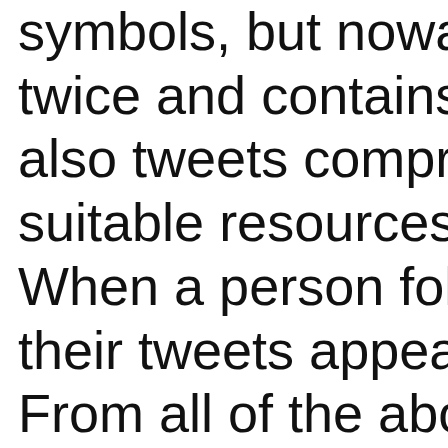symbols, but nowad twice and contains 2 also tweets compris suitable resources a When a person follo their tweets appear From all of the abov Twitter is undeniably most eminent and w